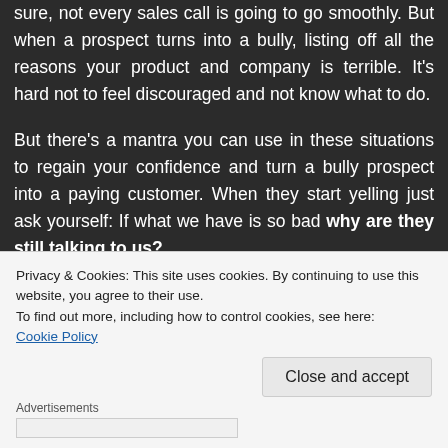sure, not every sales call is going to go smoothly. But when a prospect turns into a bully, listing off all the reasons your product and company is terrible. It's hard not to feel discouraged and not know what to do.
But there's a mantra you can use in these situations to regain your confidence and turn a bully prospect into a paying customer. When they start yelling just ask yourself: If what we have is so bad why are they still talking to us?
Privacy & Cookies: This site uses cookies. By continuing to use this website, you agree to their use.
To find out more, including how to control cookies, see here:
Cookie Policy